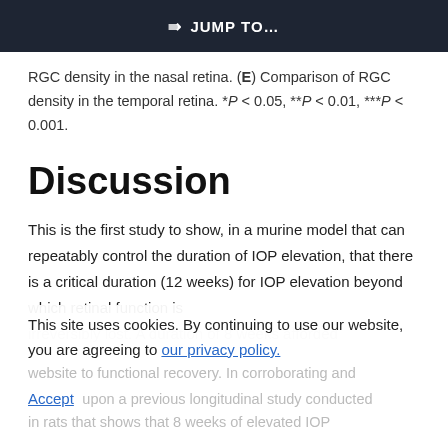⇒ JUMP TO…
RGC density in the nasal retina. (E) Comparison of RGC density in the temporal retina. *P < 0.05, **P < 0.01, ***P < 0.001.
Discussion
This is the first study to show, in a murine model that can repeatably control the duration of IOP elevation, that there is a critical duration (12 weeks) for IOP elevation beyond which retinal function is irreversibly lost. A duration of 8 weeks afforded website to functional recovery. In corroborating and upon a previous longitudinal study conducted in rats that shows that 8 weeks of elevated IOP
This site uses cookies. By continuing to use our website, you are agreeing to our privacy policy. Accept